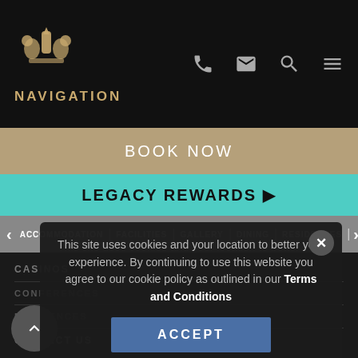NAVIGATION
BOOK NOW
LEGACY REWARDS ▶
ACCOMMODATION | FACILITIES | GALLERY | DINING | RESIDENCES |
CASINOS
CONFERENCES
RESIDENCES
CONTACT US
This site uses cookies and your location to better your experience. By continuing to use this website you agree to our cookie policy as outlined in our Terms and Conditions
ACCEPT